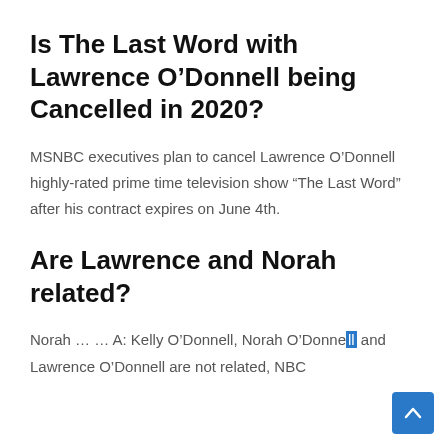Is The Last Word with Lawrence O’Donnell being Cancelled in 2020?
MSNBC executives plan to cancel Lawrence O’Donnell highly-rated prime time television show “The Last Word” after his contract expires on June 4th.
Are Lawrence and Norah related?
Norah … … A: Kelly O’Donnell, Norah O’Donnell and Lawrence O’Donnell are not related, NBC